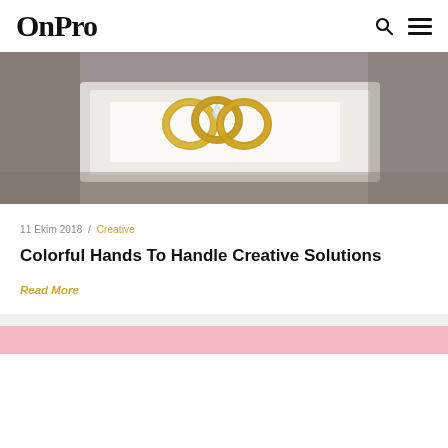OnPro
[Figure (photo): Close-up photo of gold wedding/engagement rings on a white ring box or tray, soft gray background]
11 Ekim 2018 / Creative
Colorful Hands To Handle Creative Solutions
Read More